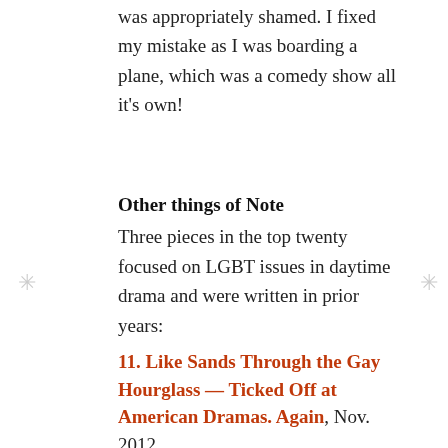was appropriately shamed. I fixed my mistake as I was boarding a plane, which was a comedy show all it's own!
Other things of Note
Three pieces in the top twenty focused on LGBT issues in daytime drama and were written in prior years:
11. Like Sands Through the Gay Hourglass — Ticked Off at American Dramas. Again, Nov. 2012
12. I, Do: The WilSon Wedding, Playing the Long Game and Celebrating the Zeitgeist, April 2014
19. More Sands Through the Gay Hourglass